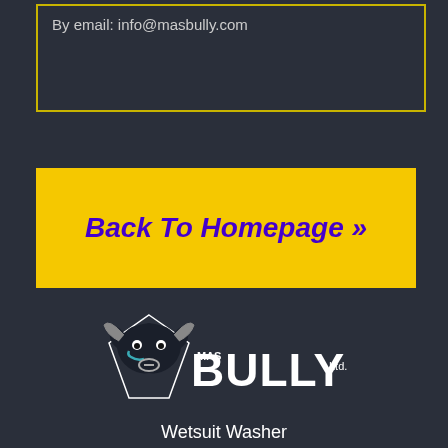By email: info@masbully.com
Back To Homepage »
[Figure (logo): MAS Bully Ltd. Wetsuit Washer logo — white text with a bull head icon and teal accent, on dark background]